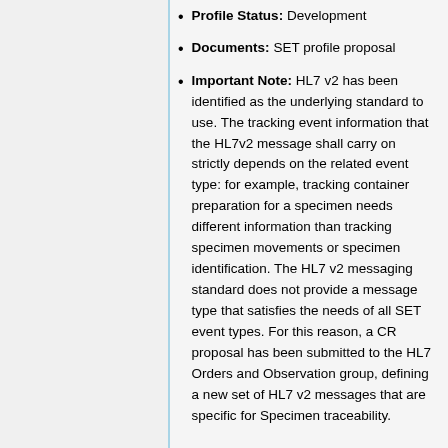Profile Status: Development
Documents: SET profile proposal
Important Note: HL7 v2 has been identified as the underlying standard to use. The tracking event information that the HL7v2 message shall carry on strictly depends on the related event type: for example, tracking container preparation for a specimen needs different information than tracking specimen movements or specimen identification. The HL7 v2 messaging standard does not provide a message type that satisfies the needs of all SET event types. For this reason, a CR proposal has been submitted to the HL7 Orders and Observation group, defining a new set of HL7 v2 messages that are specific for Specimen traceability.